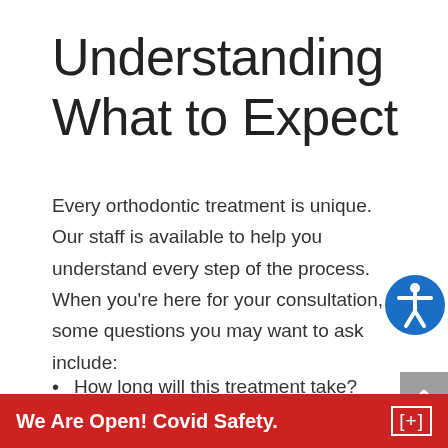Understanding What to Expect
Every orthodontic treatment is unique. Our staff is available to help you understand every step of the process. When you’re here for your consultation, some questions you may want to ask include:
How long will this treatment take?
What costs are associated with the treatment?
What will my insurance cover in regards to orth…
Ho…
We Are Open! Covid Safety.